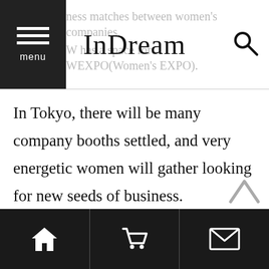InDream — navigation header with menu button and search icon
ness matches between women's companies, W has a space for WEXPO(Women's EXPO).
In Tokyo, there will be many company booths settled, and very energetic women will gather looking for new seeds of business.
We were introduced as one of the successful business models from GSW in 2005, Mexico. I had a chance to make a short impromptu speech
Navigation footer with home, cart, and mail icons